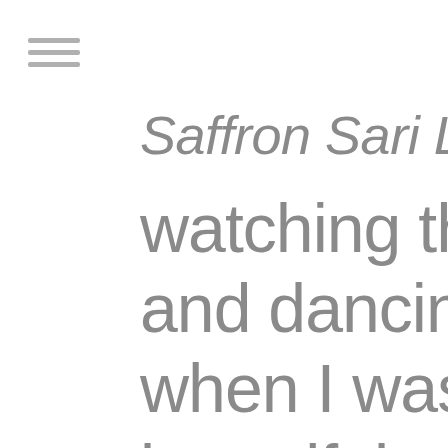[Figure (other): Hamburger menu icon with three horizontal lines]
Saffron Sari Lady
watching the par and dancing dow when I was pulled beautiful woman We danced toget